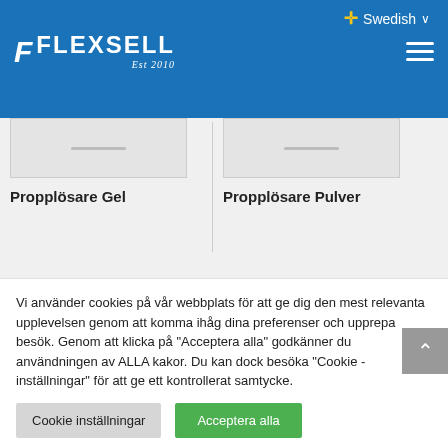Swedish — FLEXSELL Est 2010
Propplösare Gel
Propplösare Pulver
Vi använder cookies på vår webbplats för att ge dig den mest relevanta upplevelsen genom att komma ihåg dina preferenser och upprepa besök. Genom att klicka på "Acceptera alla" godkänner du användningen av ALLA kakor. Du kan dock besöka "Cookie -inställningar" för att ge ett kontrollerat samtycke.
Cookie inställningar
Acceptera alla